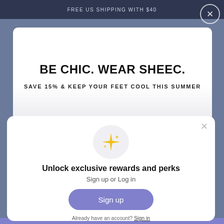FREE US SHIPPING WITH $40
BE CHIC. WEAR SHEEC.
SAVE 15% & KEEP YOUR FEET COOL THIS SUMMER
[Figure (illustration): Sparkle / star emoji icon inside a light gray circle]
Unlock exclusive rewards and perks
Sign up or Log in
Sign up
Already have an account? Sign in